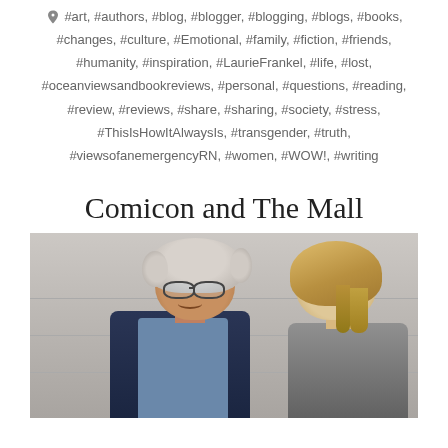#art, #authors, #blog, #blogger, #blogging, #blogs, #books, #changes, #culture, #Emotional, #family, #fiction, #friends, #humanity, #inspiration, #LaurieFrankel, #life, #lost, #oceanviewsandbookreviews, #personal, #questions, #reading, #review, #reviews, #share, #sharing, #society, #stress, #ThisIsHowItAlwaysIs, #transgender, #truth, #viewsofanemergencyRN, #women, #WOW!, #writing
Comicon and The Mall
[Figure (photo): Two people facing each other in what appears to be an indoor setting. On the left, an elderly woman with curly gray hair and glasses, wearing a dark jacket over a blue shirt, appears to be talking or smiling. On the right, a person with blonde braided/wavy hair is seen from behind.]